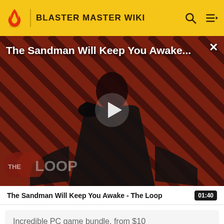BLASTER MASTER WIKI
[Figure (screenshot): Video thumbnail showing a dark-cloaked figure against a red and black diagonal striped background, with 'THE LOOP' logo in the lower left and a play button in the center. Overlay title reads 'The Sandman Will Keep You Awake...' with a close button.]
The Sandman Will Keep You Awake - The Loop   01:40
Incredible PC game bundle, from $10
BUY FROM FANATICAL